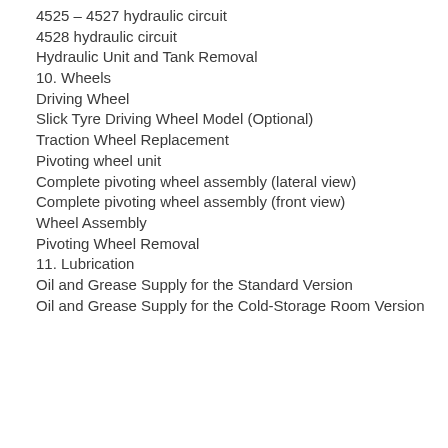4525 – 4527 hydraulic circuit
4528 hydraulic circuit
Hydraulic Unit and Tank Removal
10. Wheels
Driving Wheel
Slick Tyre Driving Wheel Model (Optional)
Traction Wheel Replacement
Pivoting wheel unit
Complete pivoting wheel assembly (lateral view)
Complete pivoting wheel assembly (front view)
Wheel Assembly
Pivoting Wheel Removal
11. Lubrication
Oil and Grease Supply for the Standard Version
Oil and Grease Supply for the Cold-Storage Room Version